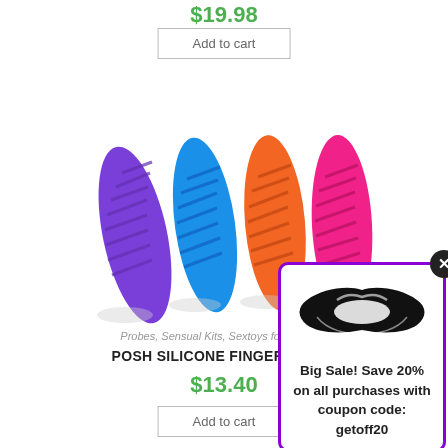$19.98
Add to cart
[Figure (photo): Four silicone finger teasers in purple, blue, orange, and pink colors arranged side by side with reflections on white background]
Probes, Sensual Kits, Sextoys for Women,
POSH SILICONE FINGER TEASE
$13.40
Add to cart
[Figure (infographic): Popup coupon with lips icon and text: Big Sale! Save 20% on all purchases with coupon code: getoff20]